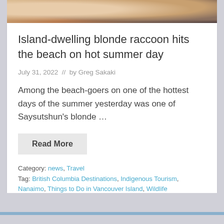[Figure (photo): Close-up photo of animal fur — blonde and brown/grey tones, likely raccoon fur]
Island-dwelling blonde raccoon hits the beach on hot summer day
July 31, 2022  //  by Greg Sakaki
Among the beach-goers on one of the hottest days of the summer yesterday was one of Saysutshun's blonde …
Read More
Category: news, Travel
Tag: British Columbia Destinations, Indigenous Tourism, Nanaimo, Things to Do in Vancouver Island, Wildlife